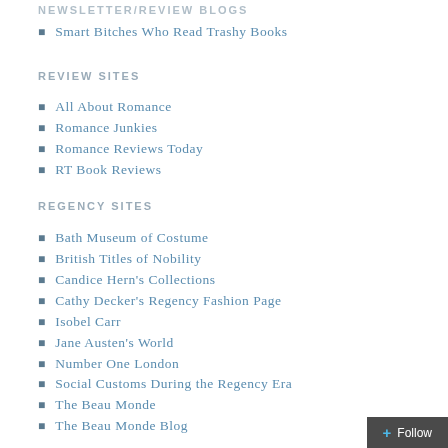NEWSLETTER/REVIEW BLOGS
Smart Bitches Who Read Trashy Books
REVIEW SITES
All About Romance
Romance Junkies
Romance Reviews Today
RT Book Reviews
REGENCY SITES
Bath Museum of Costume
British Titles of Nobility
Candice Hern's Collections
Cathy Decker's Regency Fashion Page
Isobel Carr
Jane Austen's World
Number One London
Social Customs During the Regency Era
The Beau Monde
The Beau Monde Blog
The Georgian Index
The Jane Austen Centre
The Jane Austen Evening
The Jane Austen Society of North America